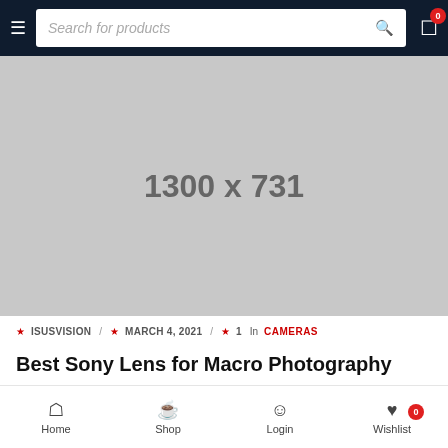Search for products
[Figure (photo): Placeholder image 1300 x 731]
ISUSVISION / MARCH 4, 2021 / 1 In CAMERAS
Best Sony Lens for Macro Photography
Lorem ipsum dolor sit amet, consectetur adipiscing elit. Sed
Home  Shop  Login  Wishlist